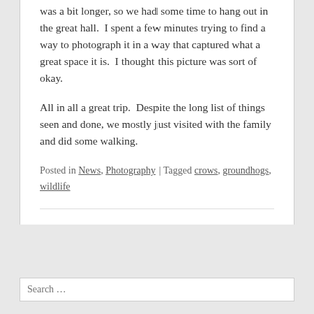was a bit longer, so we had some time to hang out in the great hall.  I spent a few minutes trying to find a way to photograph it in a way that captured what a great space it is.  I thought this picture was sort of okay.
All in all a great trip.  Despite the long list of things seen and done, we mostly just visited with the family and did some walking.
Posted in News, Photography | Tagged crows, groundhogs, wildlife
Search …